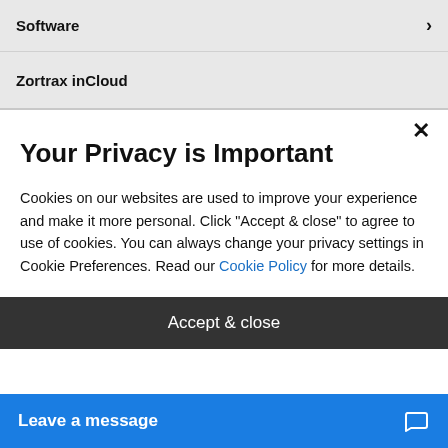Software
Zortrax inCloud
Your Privacy is Important
Cookies on our websites are used to improve your experience and make it more personal. Click "Accept & close" to agree to use of cookies. You can always change your privacy settings in Cookie Preferences. Read our Cookie Policy for more details.
Accept & close
Leave a message